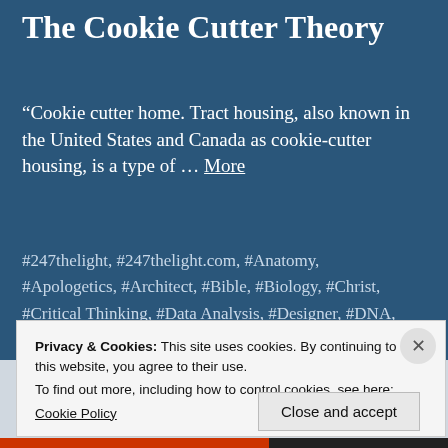The Cookie Cutter Theory
“Cookie cutter home. Tract housing, also known in the United States and Canada as cookie-cutter housing, is a type of … More
#247thelight, #247thelight.com, #Anatomy, #Apologetics, #Architect, #Bible, #Biology, #Christ, #Critical Thinking, #Data Analysis, #Designer, #DNA, #Doppelganger, #God, #History, #Information Science, #Jesus, #Logic, #Perception, #Philosophy, #Physics, #Psalm, #Psalm 10:1-8, #Psychology, #Reality, #Science
Privacy & Cookies: This site uses cookies. By continuing to use this website, you agree to their use.
To find out more, including how to control cookies, see here: Cookie Policy
Close and accept